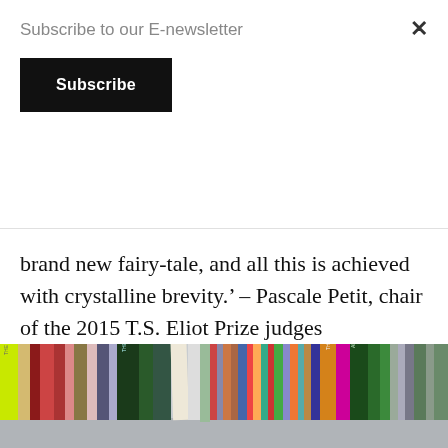Subscribe to our E-newsletter
Subscribe
brand new fairy-tale, and all this is achieved with crystalline brevity.’ – Pascale Petit, chair of the 2015 T.S. Eliot Prize judges
[Figure (photo): A row of colorful books standing upright on a shelf, photographed against a light grey background.]